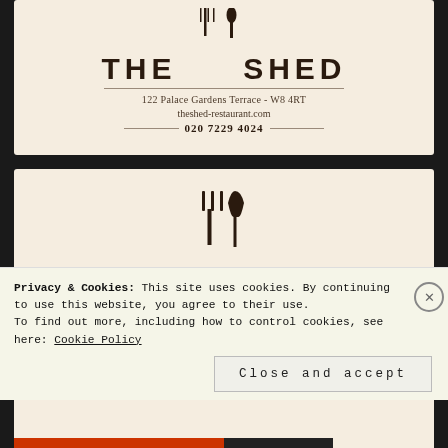[Figure (photo): Top portion of The Shed restaurant business card/menu card showing the restaurant logo 'THE SHED' with fork and trowel icons, address '122 Palace Gardens Terrace - W8 4RT', website 'theshed-restaurant.com', and phone number '020 7229 4024']
[Figure (photo): Lower portion of The Shed restaurant card showing fork and trowel icons above large text 'THE SHED' in dark brown on cream/off-white background]
Privacy & Cookies: This site uses cookies. By continuing to use this website, you agree to their use.
To find out more, including how to control cookies, see here: Cookie Policy
Close and accept